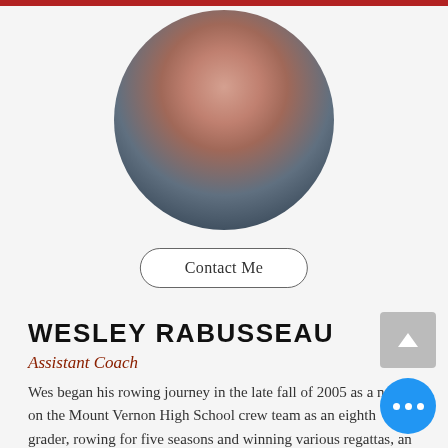[Figure (photo): Circular profile photo of Wesley Rabusseau, blurred for privacy]
Contact Me
WESLEY RABUSSEAU
Assistant Coach
Wes began his rowing journey in the late fall of 2005 as a novice on the Mount Vernon High School crew team as an eighth grader, rowing for five seasons and winning various regattas, an All-Met honorable mention, and an erg engine medal.